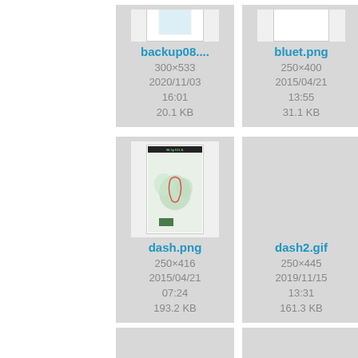[Figure (screenshot): File browser grid showing image thumbnails with filenames, dimensions, dates, times, and file sizes. Visible entries: backup08.... (300×533, 2020/11/03 16:01, 20.1 KB), bluet.png (250×400, 2015/04/21 13:55, 31.1 KB), partially visible third column top row; dash.png (250×416, 2015/04/21 07:24, 193.2 KB), dash2.gif (250×445, 2019/11/15 13:31, 161.3 KB), partially visible third column second row; two more partial cards in bottom row.]